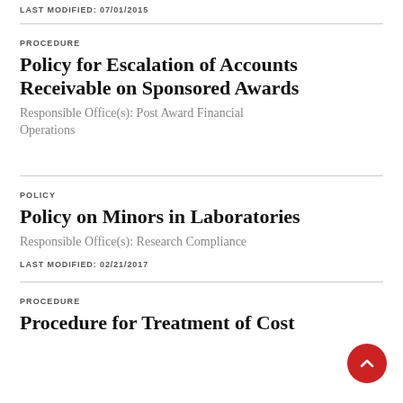LAST MODIFIED: 07/01/2015
PROCEDURE
Policy for Escalation of Accounts Receivable on Sponsored Awards
Responsible Office(s): Post Award Financial Operations
PROCEDURE
Policy on Minors in Laboratories
Responsible Office(s): Research Compliance
LAST MODIFIED: 02/21/2017
PROCEDURE
Procedure for Treatment of Cost